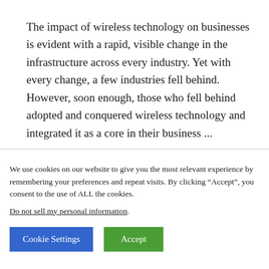The impact of wireless technology on businesses is evident with a rapid, visible change in the infrastructure across every industry. Yet with every change, a few industries fell behind. However, soon enough, those who fell behind adopted and conquered wireless technology and integrated it as a core in their business ...
We use cookies on our website to give you the most relevant experience by remembering your preferences and repeat visits. By clicking “Accept”, you consent to the use of ALL the cookies.
Do not sell my personal information.
Cookie Settings | Accept